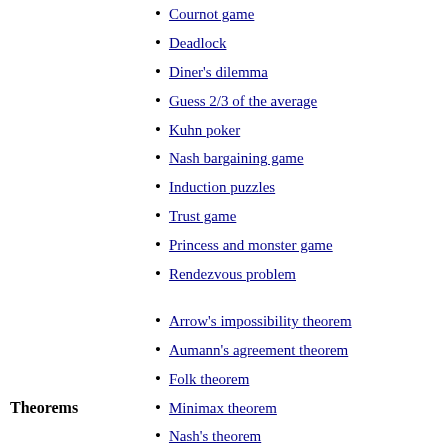Cournot game
Deadlock
Diner's dilemma
Guess 2/3 of the average
Kuhn poker
Nash bargaining game
Induction puzzles
Trust game
Princess and monster game
Rendezvous problem
Theorems
Arrow's impossibility theorem
Aumann's agreement theorem
Folk theorem
Minimax theorem
Nash's theorem
Purification theorem
Revelation principle
Zermelo's theorem
Albert W. Tucker
Amos Tversky
Antoine Augustin Cournot
Ariel Rubinstein
Claude Shannon